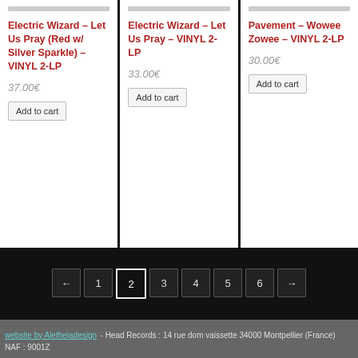Electric Wizard – Let Us Pray (Red w/ Silver Sparkle) – VINYL 2-LP
37.00€
Add to cart
Electric Wizard – Let Us Pray – VINYL 2-LP
33.00€
Add to cart
Pavement – Wowee Zowee – VINYL 2-LP
30.00€
Add to cart
website by Aletheiadesign - Head Records : 14 rue dom vaissette 34000 Montpellier (France) NAF : 9001Z